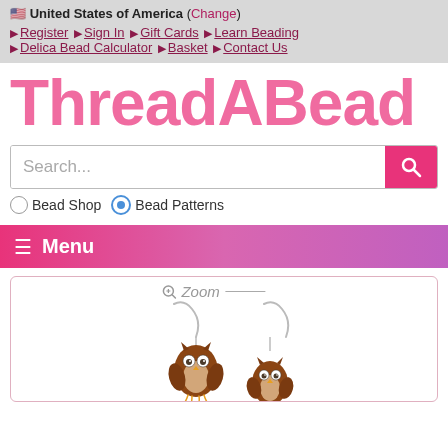🇺🇸 United States of America (Change)
▶ Register ▶ Sign In ▶ Gift Cards ▶ Learn Beading ▶ Delica Bead Calculator ▶ Basket ▶ Contact Us
[Figure (logo): ThreadABead logo in large pink rounded font]
Search... [search button] Bead Shop (radio) Bead Patterns (radio selected)
☰ Menu
[Figure (photo): Two beaded owl earrings on silver hooks, brown and orange beadwork forming owl shapes]